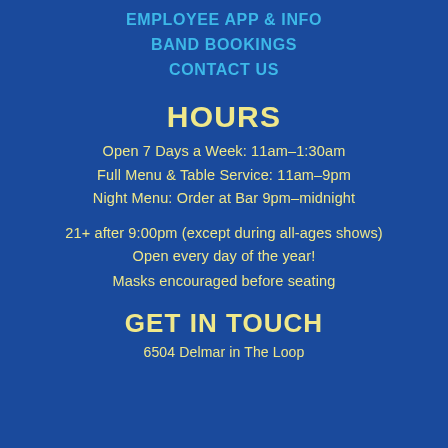EMPLOYEE APP & INFO
BAND BOOKINGS
CONTACT US
HOURS
Open 7 Days a Week: 11am–1:30am
Full Menu & Table Service: 11am–9pm
Night Menu: Order at Bar 9pm–midnight
21+ after 9:00pm (except during all-ages shows)
Open every day of the year!
Masks encouraged before seating
GET IN TOUCH
6504 Delmar in The Loop